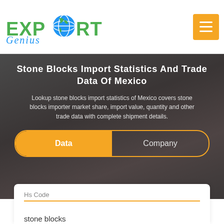[Figure (logo): Export Genius logo with green globe icon and blue/green text]
Stone Blocks Import Statistics And Trade Data Of Mexico
Lookup stone blocks import statistics of Mexico covers stone blocks importer market share, import value, quantity and other trade data with complete shipment details.
Data | Company (tab buttons)
Hs Code
stone blocks